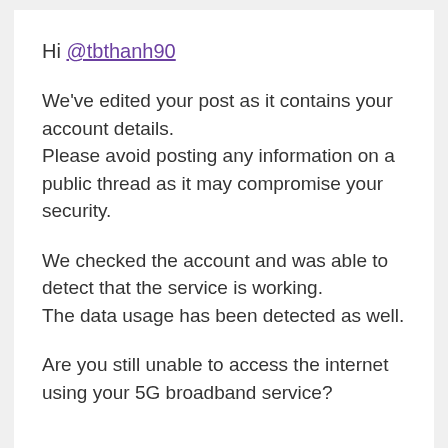Hi @tbthanh90
We've edited your post as it contains your account details.
Please avoid posting any information on a public thread as it may compromise your security.
We checked the account and was able to detect that the service is working.
The data usage has been detected as well.
Are you still unable to access the internet using your 5G broadband service?